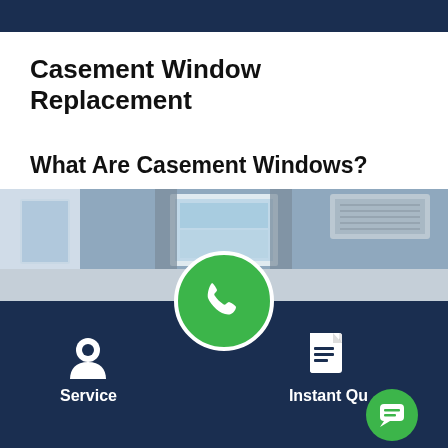Casement Window Replacement
What Are Casement Windows?
[Figure (photo): Photo of casement windows in an interior room with an air conditioning unit visible]
Service
Instant Qu...